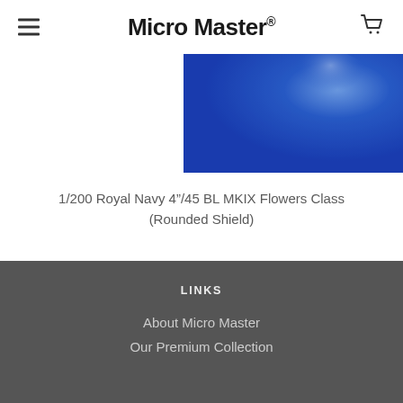Micro Master®
[Figure (photo): Product photo showing a blue navy-colored object against a royal blue background, partially cropped at top of view.]
1/200 Royal Navy 4"/45 BL MKIX Flowers Class (Rounded Shield)
$11.24
LINKS
About Micro Master
Our Premium Collection